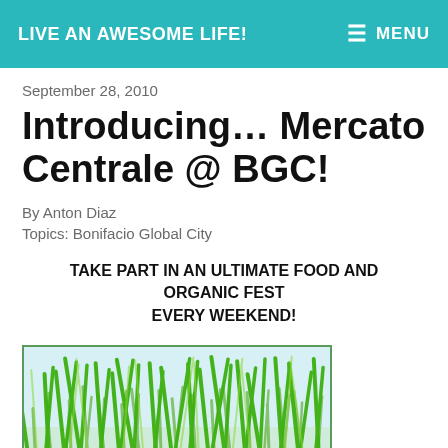LIVE AN AWESOME LIFE!
September 28, 2010
Introducing… Mercato Centrale @ BGC!
By Anton Diaz
Topics: Bonifacio Global City
TAKE PART IN AN ULTIMATE FOOD AND ORGANIC FEST EVERY WEEKEND!
[Figure (photo): A tray of fresh green wheatgrass growing densely, photographed against a light background.]